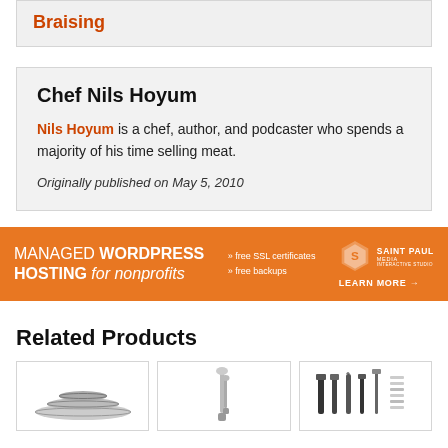Braising
Chef Nils Hoyum
Nils Hoyum is a chef, author, and podcaster who spends a majority of his time selling meat.
Originally published on May 5, 2010
[Figure (infographic): Orange advertisement banner for Managed WordPress Hosting for nonprofits by Saint Paul Media Interactive Studio. Text: MANAGED WORDPRESS HOSTING for nonprofits, free SSL certificates, free backups, LEARN MORE arrow. Saint Paul Media hexagon logo.]
Related Products
[Figure (photo): Product image 1 - mixing bowls]
[Figure (photo): Product image 2 - kitchen knives]
[Figure (photo): Product image 3 - kitchen utensils and tools]